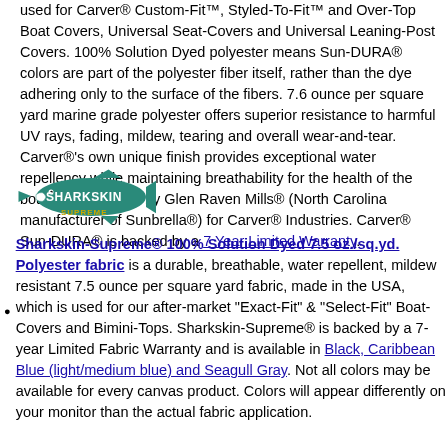used for Carver® Custom-Fit™, Styled-To-Fit™ and Over-Top Boat Covers, Universal Seat-Covers and Universal Leaning-Post Covers. 100% Solution Dyed polyester means Sun-DURA® colors are part of the polyester fiber itself, rather than the dye adhering only to the surface of the fibers. 7.6 ounce per square yard marine grade polyester offers superior resistance to harmful UV rays, fading, mildew, tearing and overall wear-and-tear. Carver®'s own unique finish provides exceptional water repellency while maintaining breathability for the health of the boat. Made in USA by Glen Raven Mills® (North Carolina manufacturer of Sunbrella®) for Carver® Industries. Carver® Sun-DURA® is backed by a 7 Year Limited Warranty.
[Figure (logo): Sharkskin Supreme logo — shark illustration with text]
Sharkskin-Supreme® 100% Solution Dyed 7.5 oz./sq.yd. Polyester fabric is a durable, breathable, water repellent, mildew resistant 7.5 ounce per square yard fabric, made in the USA, which is used for our after-market "Exact-Fit" & "Select-Fit" Boat-Covers and Bimini-Tops. Sharkskin-Supreme® is backed by a 7-year Limited Fabric Warranty and is available in Black, Caribbean Blue (light/medium blue) and Seagull Gray. Not all colors may be available for every canvas product. Colors will appear differently on your monitor than the actual fabric application.